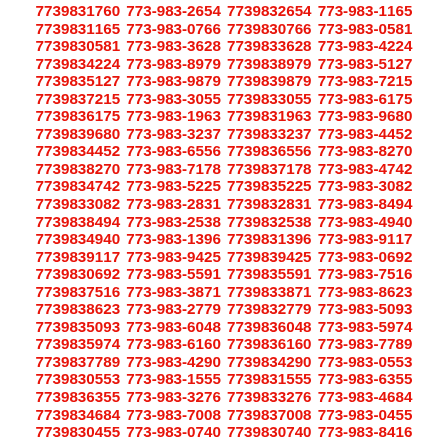7739831760 773-983-2654 7739832654 773-983-1165
7739831165 773-983-0766 7739830766 773-983-0581
7739830581 773-983-3628 7739833628 773-983-4224
7739834224 773-983-8979 7739838979 773-983-5127
7739835127 773-983-9879 7739839879 773-983-7215
7739837215 773-983-3055 7739833055 773-983-6175
7739836175 773-983-1963 7739831963 773-983-9680
7739839680 773-983-3237 7739833237 773-983-4452
7739834452 773-983-6556 7739836556 773-983-8270
7739838270 773-983-7178 7739837178 773-983-4742
7739834742 773-983-5225 7739835225 773-983-3082
7739833082 773-983-2831 7739832831 773-983-8494
7739838494 773-983-2538 7739832538 773-983-4940
7739834940 773-983-1396 7739831396 773-983-9117
7739839117 773-983-9425 7739839425 773-983-0692
7739830692 773-983-5591 7739835591 773-983-7516
7739837516 773-983-3871 7739833871 773-983-8623
7739838623 773-983-2779 7739832779 773-983-5093
7739835093 773-983-6048 7739836048 773-983-5974
7739835974 773-983-6160 7739836160 773-983-7789
7739837789 773-983-4290 7739834290 773-983-0553
7739830553 773-983-1555 7739831555 773-983-6355
7739836355 773-983-3276 7739833276 773-983-4684
7739834684 773-983-7008 7739837008 773-983-0455
7739830455 773-983-0740 7739830740 773-983-8416